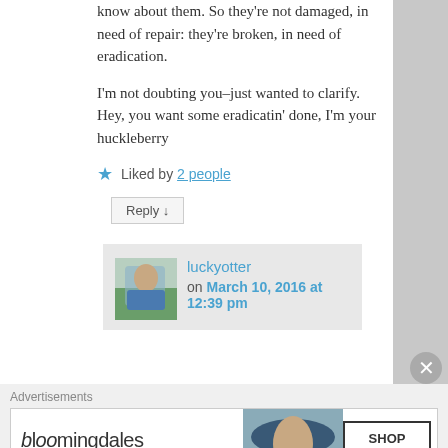know about them. So they're not damaged, in need of repair: they're broken, in need of eradication.
I'm not doubting you–just wanted to clarify. Hey, you want some eradicatin' done, I'm your huckleberry
★ Liked by 2 people
Reply ↓
luckyotter on March 10, 2016 at 12:39 pm
Advertisements
[Figure (screenshot): Bloomingdale's advertisement banner: 'bloomingdales View Today's Top Deals!' with SHOP NOW > button and image of woman in hat]